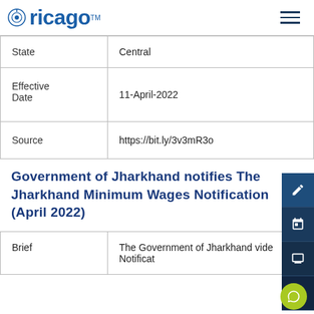ricago™
| Field | Value |
| --- | --- |
| State | Central |
| Effective Date | 11-April-2022 |
| Source | https://bit.ly/3v3mR3o |
Government of Jharkhand notifies The Jharkhand Minimum Wages Notification (April 2022)
| Field | Value |
| --- | --- |
| Brief | The Government of Jharkhand vide Notificat… |